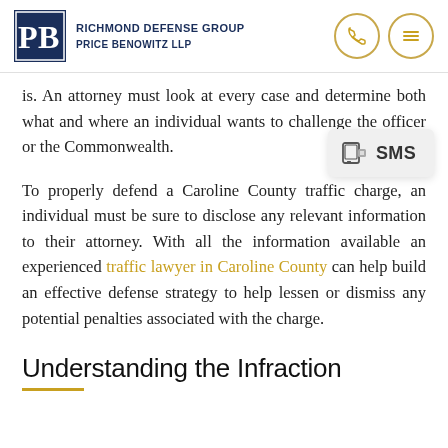[Figure (logo): Richmond Defense Group Price Benowitz LLP logo with stylized PB letters in navy blue, phone icon and menu icon in gold circles]
is. An attorney must look at every case and determine both what and where an individual wants to challenge the officer or the Commonwealth.
To properly defend a Caroline County traffic charge, an individual must be sure to disclose any relevant information to their attorney. With all the information available an experienced traffic lawyer in Caroline County can help build an effective defense strategy to help lessen or dismiss any potential penalties associated with the charge.
Understanding the Infraction